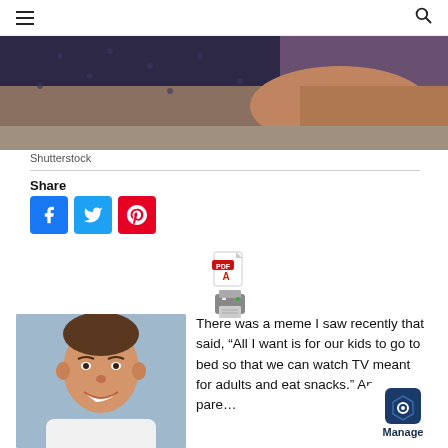Navigation header with hamburger menu and search icon
[Figure (photo): Cropped photo showing person lying on couch, dark polka dot fabric and skin visible]
Shutterstock
Share
[Figure (infographic): Social share buttons: Facebook (blue), Twitter (light blue), Pinterest (red)]
[Figure (other): PDF icon above printer icon]
[Figure (photo): Headshot of smiling middle-aged man with dark hair wearing white shirt]
There was a meme I saw recently that said, “All I want is for our kids to go to bed so that we can watch TV meant for adults and eat snacks.” And all the pare…